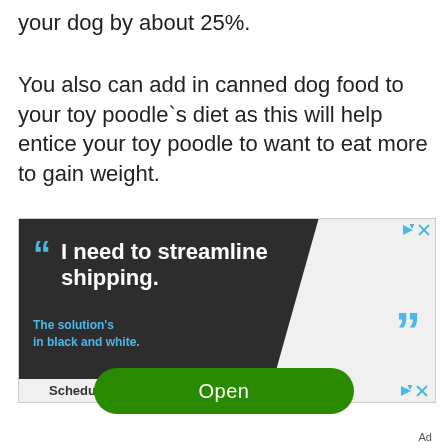your dog by about 25%.
You also can add in canned dog food to your toy poodle`s diet as this will help entice your toy poodle to want to eat more to gain weight.
[Figure (other): Advertisement banner: dark angled shape with quote marks and text 'I need to streamline shipping. The solution's in black and white.' with blue accent text and quote marks]
Schedule a $89 AC Diagnostic
Open
Ad